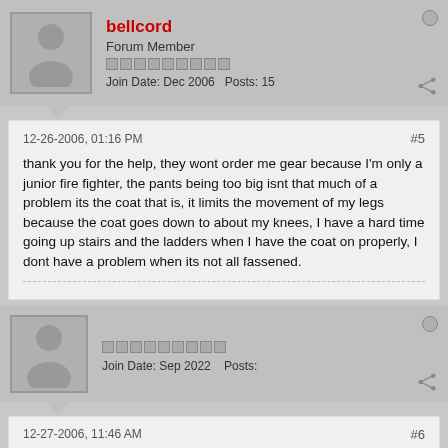bellcord
Forum Member
Join Date: Dec 2006   Posts: 15
12-26-2006, 01:16 PM
#5
thank you for the help, they wont order me gear because I'm only a junior fire fighter, the pants being too big isnt that much of a problem its the coat that is, it limits the movement of my legs because the coat goes down to about my knees, I have a hard time going up stairs and the ladders when I have the coat on properly, I dont have a problem when its not all fassened.
Join Date: Sep 2022   Posts:
12-27-2006, 11:46 AM
#6
im having the same problem, although i can still do everything in my gear its just a whole lot more difficult for me than it is for the other firefighters. my biggest problem is my gloves. i didnt think it was too bad until we had a training session using the buddy breathers on our MSA airpass. twice